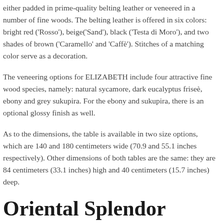either padded in prime-quality belting leather or veneered in a number of fine woods. The belting leather is offered in six colors: bright red ('Rosso'), beige('Sand'), black ('Testa di Moro'), and two shades of brown ('Caramello' and 'Caffè'). Stitches of a matching color serve as a decoration.
The veneering options for ELIZABETH include four attractive fine wood species, namely: natural sycamore, dark eucalyptus friseè, ebony and grey sukupira. For the ebony and sukupira, there is an optional glossy finish as well.
As to the dimensions, the table is available in two size options, which are 140 and 180 centimeters wide (70.9 and 55.1 inches respectively). Other dimensions of both tables are the same: they are 84 centimeters (33.1 inches) high and 40 centimeters (15.7 inches) deep.
Oriental Splendor